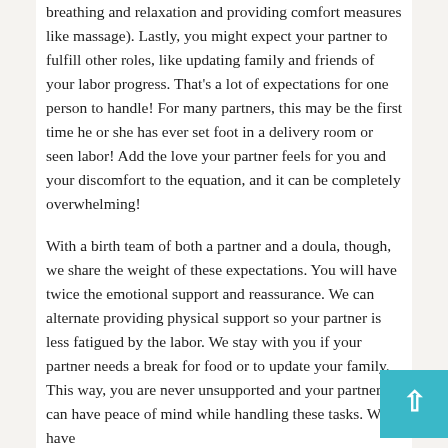breathing and relaxation and providing comfort measures like massage). Lastly, you might expect your partner to fulfill other roles, like updating family and friends of your labor progress. That's a lot of expectations for one person to handle! For many partners, this may be the first time he or she has ever set foot in a delivery room or seen labor! Add the love your partner feels for you and your discomfort to the equation, and it can be completely overwhelming!
With a birth team of both a partner and a doula, though, we share the weight of these expectations. You will have twice the emotional support and reassurance. We can alternate providing physical support so your partner is less fatigued by the labor. We stay with you if your partner needs a break for food or to update your family. This way, you are never unsupported and your partner can have peace of mind while handling these tasks. We have